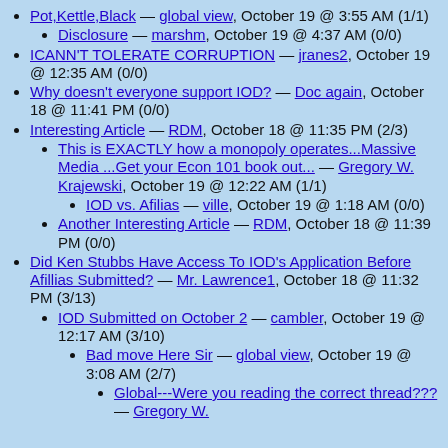Pot,Kettle,Black — global view, October 19 @ 3:55 AM (1/1)
Disclosure — marshm, October 19 @ 4:37 AM (0/0)
ICANN'T TOLERATE CORRUPTION — jranes2, October 19 @ 12:35 AM (0/0)
Why doesn't everyone support IOD? — Doc again, October 18 @ 11:41 PM (0/0)
Interesting Article — RDM, October 18 @ 11:35 PM (2/3)
This is EXACTLY how a monopoly operates...Massive Media ...Get your Econ 101 book out... — Gregory W. Krajewski, October 19 @ 12:22 AM (1/1)
IOD vs. Afilias — ville, October 19 @ 1:18 AM (0/0)
Another Interesting Article — RDM, October 18 @ 11:39 PM (0/0)
Did Ken Stubbs Have Access To IOD's Application Before Afillias Submitted? — Mr. Lawrence1, October 18 @ 11:32 PM (3/13)
IOD Submitted on October 2 — cambler, October 19 @ 12:17 AM (3/10)
Bad move Here Sir — global view, October 19 @ 3:08 AM (2/7)
Global---Were you reading the correct thread??? — Gregory W.